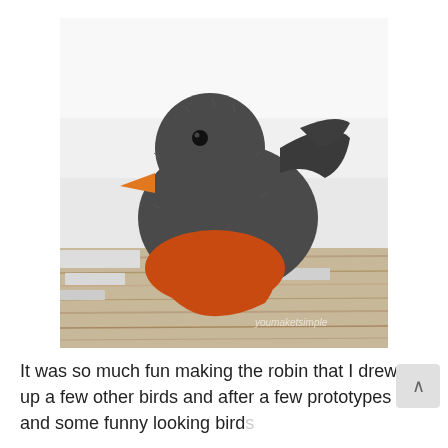[Figure (photo): A handmade felt stuffed bird toy (robin) with dark grey body, orange-red breast, and orange beak, sitting on a weathered white wooden surface. Watermark 'youmaketsimple' visible in bottom right of photo.]
It was so much fun making the robin that I drew up a few other birds and after a few prototypes and some funny looking birds this is what finally came with this t